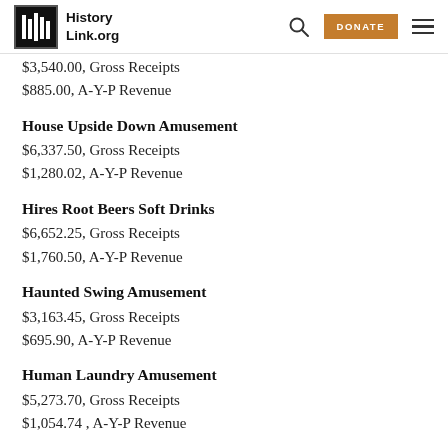HistoryLink.org
$3,540.00, Gross Receipts
$885.00, A-Y-P Revenue
House Upside Down Amusement
$6,337.50, Gross Receipts
$1,280.02, A-Y-P Revenue
Hires Root Beers Soft Drinks
$6,652.25, Gross Receipts
$1,760.50, A-Y-P Revenue
Haunted Swing Amusement
$3,163.45, Gross Receipts
$695.90, A-Y-P Revenue
Human Laundry Amusement
$5,273.70, Gross Receipts
$1,054.74 , A-Y-P Revenue
House Jack Built Amusement